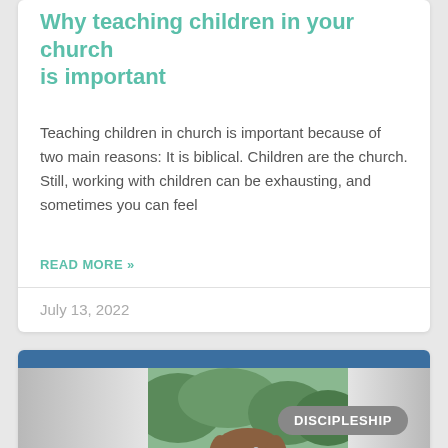Why teaching children in your church is important
Teaching children in church is important because of two main reasons: It is biblical. Children are the church. Still, working with children can be exhausting, and sometimes you can feel
READ MORE »
July 13, 2022
[Figure (photo): Photo of a smiling young woman with brown wavy hair wearing a blue floral top, standing outdoors with greenery and a wooden fence in the background. A badge labelled DISCIPLESHIP appears to the right of the photo.]